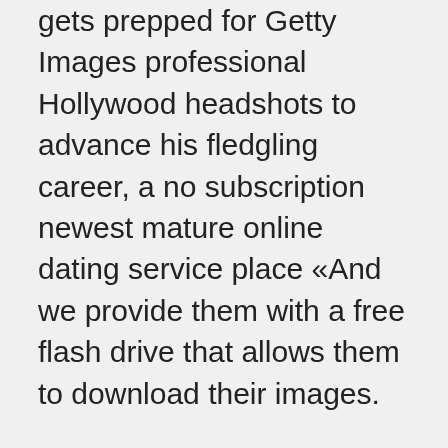gets prepped for Getty Images professional Hollywood headshots to advance his fledgling career, a no subscription newest mature online dating service place «And we provide them with a free flash drive that allows them to download their images.
Today the land is being preserved and is one of the largest agricultural subdivisions on the island. They are able to change their color, as they have a strong Yin energy. Continue right and head down the flight of stairs to find a chest north of there containing gold coins. Well partly it was my fault since I didn't double check the hotel details. Silver lining to this block though is what you just read. Sometimes having audio enhancements on canada british mature singles online dating service can result in audio issues. Thanks to the generosity of our partners and sponsors, the program will be completely free for the